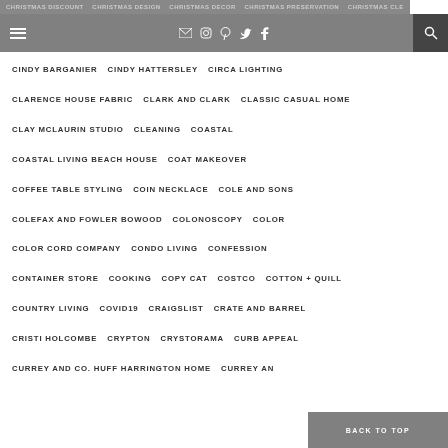CHRISTMAS DISCOUNT | CHRISTMAS DESIGN | CHRISTMAS DECOR | CHRISTMAS PRESERVATION | CHRISTMAS CLEARANCE
CINDY BARGANIER
CINDY HATTERSLEY
CIRCA LIGHTING
CLARENCE HOUSE FABRIC
CLARK AND CLARK
CLASSIC CASUAL HOME
CLAY MCLAURIN STUDIO
CLEANING
COASTAL
COASTAL LIVING BEACH HOUSE
COAT MAKEOVER
COFFEE TABLE STYLING
COIN NECKLACE
COLE AND SONS
COLEFAX AND FOWLER BOWOOD
COLONOSCOPY
COLOR
COLOR CORD COMPANY
CONDO LIVING
CONFESSION
CONTAINER STORE
COOKING
COPY CAT
COSTCO
COTTON + QUILL
COUNTRY LIVING
COVID19
CRAIGSLIST
CRATE AND BARREL
CRISTI HOLCOMBE
CRYPTON
CRYSTORAMA
CURB APPEAL
CURREY AND CO. HUFF HARRINGTON HOME
CURREY AND CO.